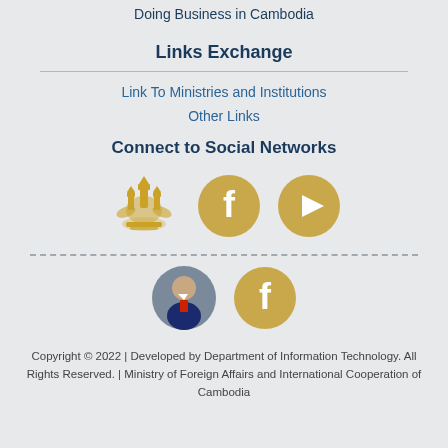Doing Business in Cambodia
Links Exchange
Link To Ministries and Institutions
Other Links
Connect to Social Networks
[Figure (logo): Cambodia royal emblem/crest in gold, Facebook icon circle gold, YouTube icon circle gold]
[Figure (photo): Circular portrait photo of a man in suit, and a Facebook icon circle gold below]
Copyright © 2022 | Developed by Department of Information Technology. All Rights Reserved. | Ministry of Foreign Affairs and International Cooperation of Cambodia